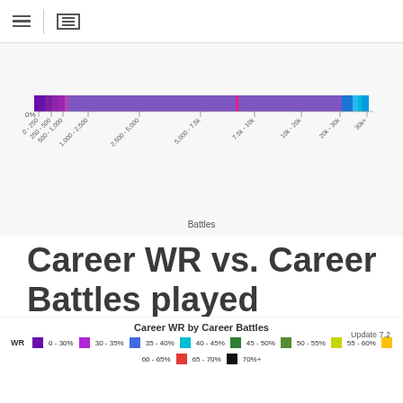[Figure (stacked-bar-chart): Horizontal stacked bar chart showing distribution of player career WR across career battle count ranges. X-axis shows battle ranges: 0-250, 250-500, 500-1000, 1000-2500, 2500-5000, 5000-7.5k, 7.5k-10k, 10k-20k, 20k-30k, 30k+. Colors represent WR brackets.]
Career WR vs. Career Battles played
This graph shows Player career WR vs. career battles. Average tier is not taken into account.
[Figure (stacked-bar-chart): Legend and title area for the career WR by career battles chart.]